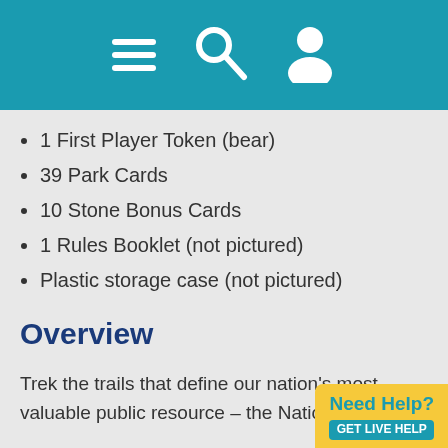[Figure (other): Navigation header bar with hamburger menu, search, and user icons on teal background]
1 First Player Token (bear)
39 Park Cards
10 Stone Bonus Cards
1 Rules Booklet (not pictured)
Plastic storage case (not pictured)
Overview
Trek the trails that define our nation’s most valuable public resource – the National Parks!
Trekking the National Parks is a spirited family board game that lets players experience the U.S. National Parks in a fun and competitive way.
Up to six players compete in a cross-c
[Figure (other): Need Help? button widget in yellow/teal]